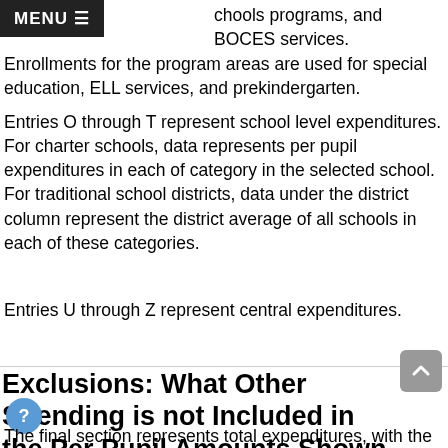MENU
community schools programs, and BOCES services. Enrollments for the program areas are used for special education, ELL services, and prekindergarten.
Entries O through T represent school level expenditures. For charter schools, data represents per pupil expenditures in each of category in the selected school. For traditional school districts, data under the district column represent the district average of all schools in each of these categories.
Entries U through Z represent central expenditures.
Exclusions: What Other Spending is not Included in the Per Pupil Amounts Shown Above?
The final section represents total expenditures, with the